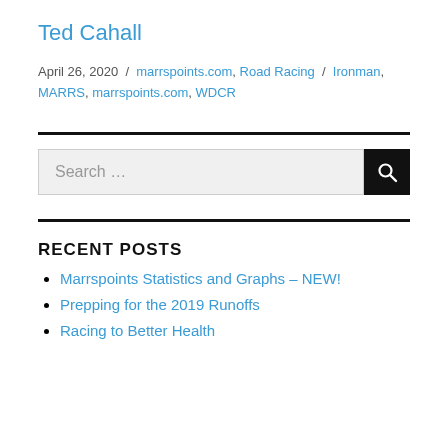Ted Cahall
April 26, 2020 / marrspoints.com, Road Racing / Ironman, MARRS, marrspoints.com, WDCR
[Figure (other): Horizontal black divider line]
[Figure (other): Search box with search input field and black search button with magnifying glass icon]
[Figure (other): Horizontal black divider line]
RECENT POSTS
Marrspoints Statistics and Graphs – NEW!
Prepping for the 2019 Runoffs
Racing to Better Health